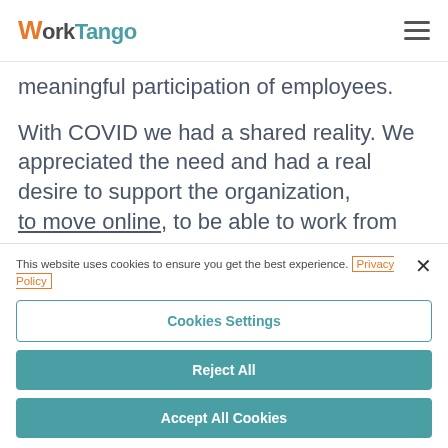WorkTango
meaningful participation of employees.
With COVID we had a shared reality. We appreciated the need and had a real desire to support the organization, to move online, to be able to work from
This website uses cookies to ensure you get the best experience. Privacy Policy
Cookies Settings
Reject All
Accept All Cookies